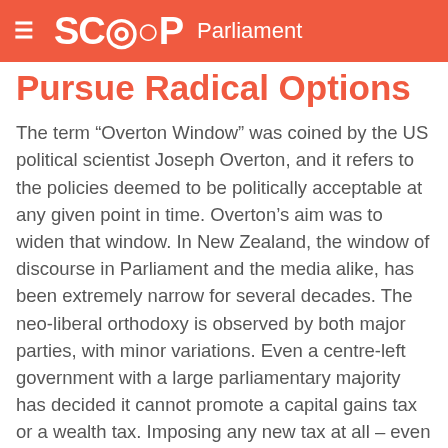SCOOP Parliament
Pursue Radical Options
The term “Overton Window” was coined by the US political scientist Joseph Overton, and it refers to the policies deemed to be politically acceptable at any given point in time. Overton’s aim was to widen that window. In New Zealand, the window of discourse in Parliament and the media alike, has been extremely narrow for several decades. The neo-liberal orthodoxy is observed by both major parties, with minor variations. Even a centre-left government with a large parliamentary majority has decided it cannot promote a capital gains tax or a wealth tax. Imposing any new tax at all – even to generate the revenue required to meet pressing social needs - is considered to be politically impossible…
More>>